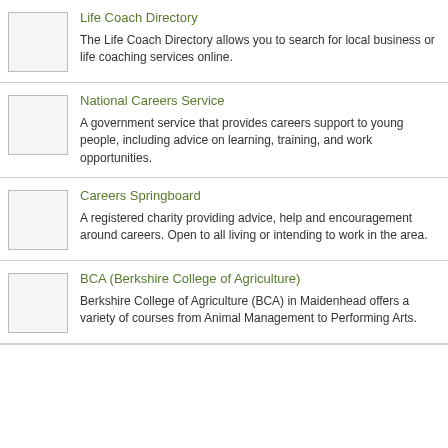Life Coach Directory
The Life Coach Directory allows you to search for local business or life coaching services online.
National Careers Service
A government service that provides careers support to young people, including advice on learning, training, and work opportunities.
Careers Springboard
A registered charity providing advice, help and encouragement around careers. Open to all living or intending to work in the area.
BCA (Berkshire College of Agriculture)
Berkshire College of Agriculture (BCA) in Maidenhead offers a variety of courses from Animal Management to Performing Arts.